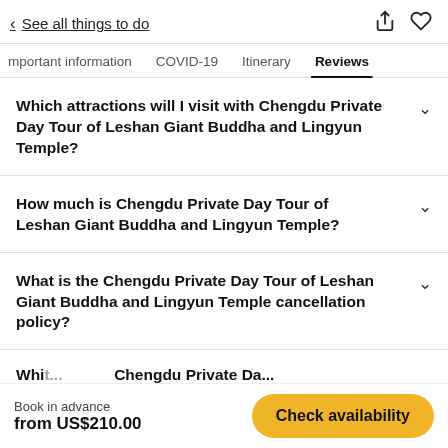< See all things to do
Important information | COVID-19 | Itinerary | Reviews
Which attractions will I visit with Chengdu Private Day Tour of Leshan Giant Buddha and Lingyun Temple?
How much is Chengdu Private Day Tour of Leshan Giant Buddha and Lingyun Temple?
What is the Chengdu Private Day Tour of Leshan Giant Buddha and Lingyun Temple cancellation policy?
What is ... Chengdu Private Da... (truncated)
Book in advance
from US$210.00
Check availability